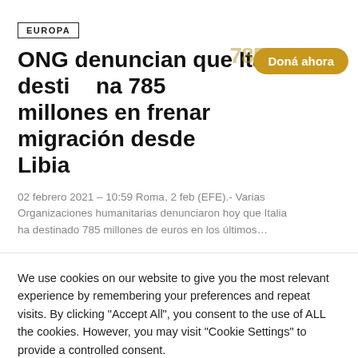EUROPA
ONG denuncian que Italia destina 785 millones en frenar migración desde Libia
02 febrero 2021 – 10:59 Roma, 2 feb (EFE).- Varias Organizaciones humanitarias denunciaron hoy que Italia ha destinado 785 millones de euros en los últimos…
We use cookies on our website to give you the most relevant experience by remembering your preferences and repeat visits. By clicking "Accept All", you consent to the use of ALL the cookies. However, you may visit "Cookie Settings" to provide a controlled consent.